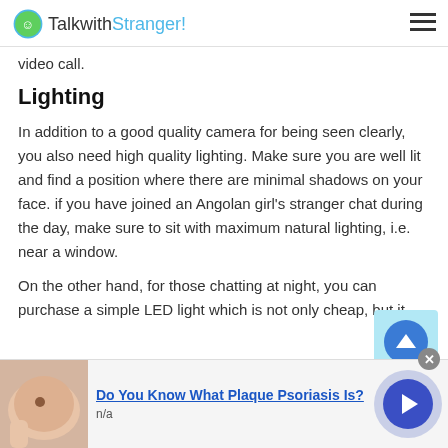TalkwithStranger!
video call.
Lighting
In addition to a good quality camera for being seen clearly, you also need high quality lighting. Make sure you are well lit and find a position where there are minimal shadows on your face. if you have joined an Angolan girl's stranger chat during the day, make sure to sit with maximum natural lighting, i.e. near a window.
On the other hand, for those chatting at night, you can purchase a simple LED light which is not only cheap, but it
[Figure (screenshot): Advertisement banner: Do You Know What Plaque Psoriasis Is? with skin image and n/a label, blue navigation arrow button on right.]